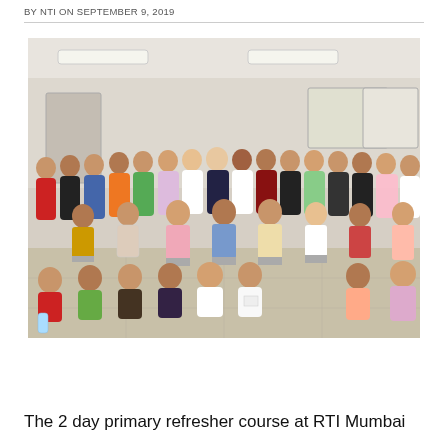BY NTI ON SEPTEMBER 9, 2019
[Figure (photo): Group photo of approximately 30-35 women in a classroom or training room setting. Women are arranged in three rows — some standing, some seated on chairs, and some sitting on the floor. The room has fluorescent lighting, white walls, and a tiled floor. Various colorful clothing is visible including salwar kameez, western outfits, and traditional Indian attire.]
The 2 day primary refresher course at RTI Mumbai